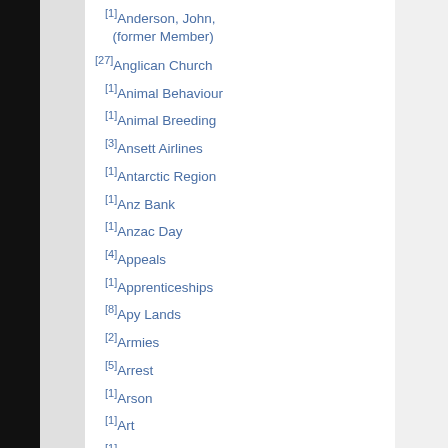[1]Anderson, John, (former Member)
[27]Anglican Church
[1]Animal Behaviour
[1]Animal Breeding
[3]Ansett Airlines
[1]Antarctic Region
[1]Anz Bank
[1]Anzac Day
[4]Appeals
[1]Apprenticeships
[8]Apy Lands
[2]Armies
[5]Arrest
[1]Arson
[1]Art
[1]Arthritis
[1]Asbestosis
[2]Asc Pty Ltd
[2]Asia Pacific Economic Cooperation
[2]Asia, Southeast
[2]Assault
[1]Asx Corporate Governance Council